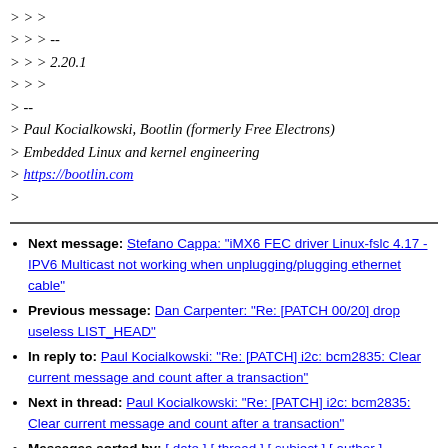> > >
> > > --
> > > 2.20.1
> > >
> --
> Paul Kocialkowski, Bootlin (formerly Free Electrons)
> Embedded Linux and kernel engineering
> https://bootlin.com
>
Next message: Stefano Cappa: "iMX6 FEC driver Linux-fslc 4.17 - IPV6 Multicast not working when unplugging/plugging ethernet cable"
Previous message: Dan Carpenter: "Re: [PATCH 00/20] drop useless LIST_HEAD"
In reply to: Paul Kocialkowski: "Re: [PATCH] i2c: bcm2835: Clear current message and count after a transaction"
Next in thread: Paul Kocialkowski: "Re: [PATCH] i2c: bcm2835: Clear current message and count after a transaction"
Messages sorted by: [ date ] [ thread ] [ subject ] [ author ]